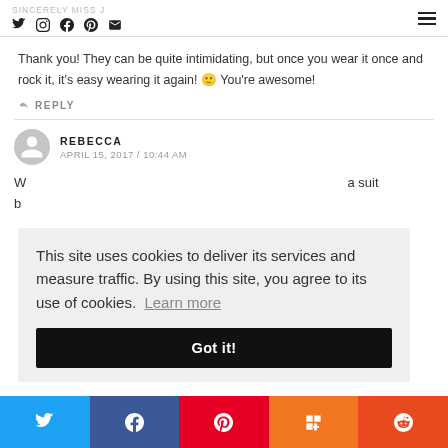SINCERELY MISS J — social icons and menu
Thank you! They can be quite intimidating, but once you wear it once and rock it, it's easy wearing it again! 🙂 You're awesome!
↩ REPLY
REBECCA
APRIL 15, 2017 / 10:44 AM
W... a suit b...
This site uses cookies to deliver its services and measure traffic. By using this site, you agree to its use of cookies. Learn more
Got it!
Twitter | Facebook | Pinterest | Mix | Reddit share buttons